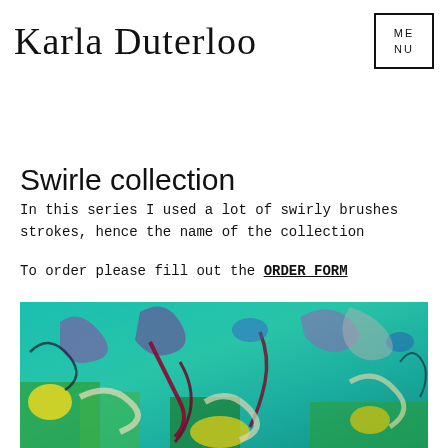Karla Duterloo  MENU
Swirle collection
In this series I used a lot of swirly brushes strokes, hence the name of the collection
To order please fill out the ORDER FORM
[Figure (photo): Abstract colorful painting with swirly brush strokes in teal, green, yellow, purple and dark red, part of the Swirle collection by Karla Duterloo]